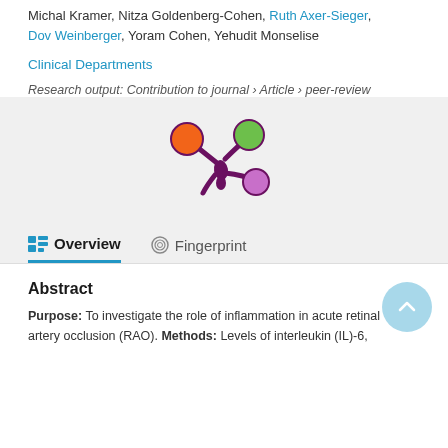Michal Kramer, Nitza Goldenberg-Cohen, Ruth Axer-Sieger, Dov Weinberger, Yoram Cohen, Yehudit Monselise
Clinical Departments
Research output: Contribution to journal › Article › peer-review
[Figure (logo): Fingerprint/altmetric flower logo with orange, green, and purple circles]
Overview   Fingerprint
Abstract
Purpose: To investigate the role of inflammation in acute retinal artery occlusion (RAO). Methods: Levels of interleukin (IL)-6,